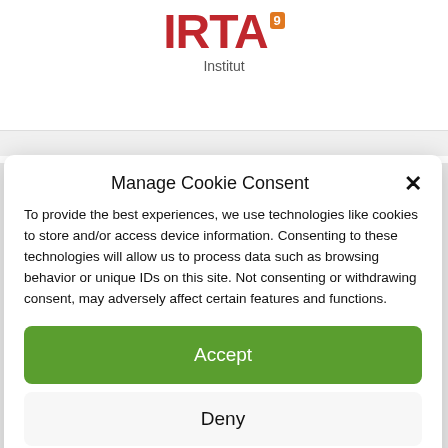[Figure (logo): IRTA logo with red bold text and orange badge superscript, subtitle 'Institut']
Manage Cookie Consent
To provide the best experiences, we use technologies like cookies to store and/or access device information. Consenting to these technologies will allow us to process data such as browsing behavior or unique IDs on this site. Not consenting or withdrawing consent, may adversely affect certain features and functions.
Accept
Deny
View preferences
Cookies Policy